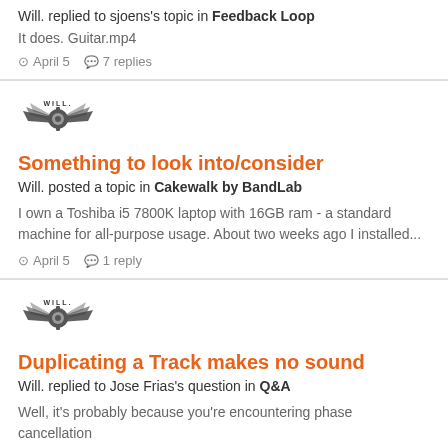Will. replied to sjoens's topic in Feedback Loop
It does. Guitar.mp4
April 5   7 replies
[Figure (logo): Will. user avatar with winged gear emblem]
Something to look into/consider
Will. posted a topic in Cakewalk by BandLab
I own a Toshiba i5 7800K laptop with 16GB ram - a standard machine for all-purpose usage. About two weeks ago I installed...
April 5   1 reply
[Figure (logo): Will. user avatar with winged gear emblem]
Duplicating a Track makes no sound
Will. replied to Jose Frias's question in Q&A
Well, it's probably because you're encountering phase cancellation